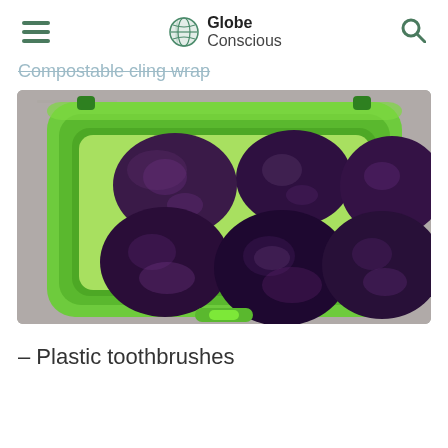Globe Conscious
Compostable cling wrap
[Figure (photo): Green plastic lunchbox/container open and filled with six dark purple plums, sitting on a grey concrete surface]
– Plastic toothbrushes